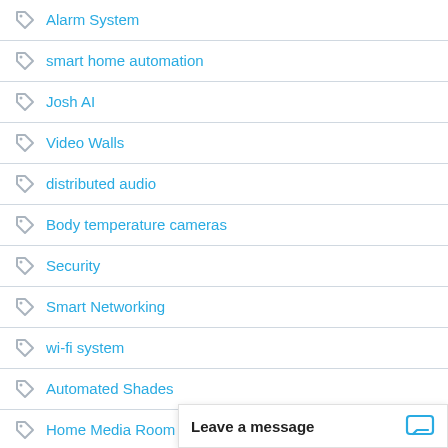Alarm System
smart home automation
Josh AI
Video Walls
distributed audio
Body temperature cameras
Security
Smart Networking
wi-fi system
Automated Shades
Home Media Room
Smart Scenes
outdoor lighting
Video Surveillance
Outdoor Lighting Solu…
Home Monitoring Serv…
Leave a message